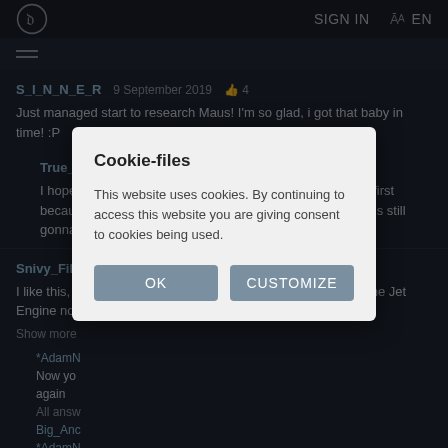SIGN IN  EN
S_I_N_N_E_R  9 September 2019  👍 4
Just managed start to research Maus! I'm so glad, i got that baby in time! :P
True_Reaper45  9 September 2019  👍 0
I hope that you got the Panther 2 and the Flakpanzer 341 first because those are going away permanently but the Maus is still gonna be researchable once a year.
Snivy_Films  9 September 2019  👍 3
I like this, Something new to listen to instead of having the same Jet Engine noise that is
Show more
*AdamN
Now yo
again
All answ
Big_Anc
*AdamN
check if my mum was vacuuming in my room.
Cookie-files
This website uses cookies. By continuing to access this website you are giving consent to cookies being used.
OK  CUSTOMIZE